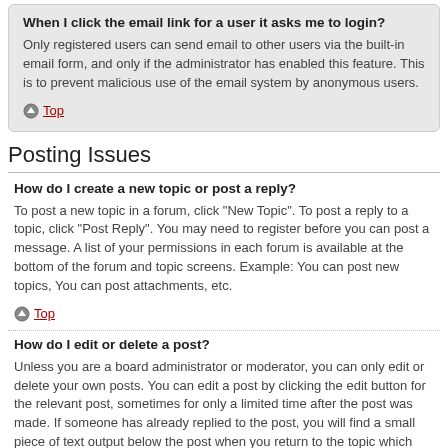When I click the email link for a user it asks me to login?
Only registered users can send email to other users via the built-in email form, and only if the administrator has enabled this feature. This is to prevent malicious use of the email system by anonymous users.
Top
Posting Issues
How do I create a new topic or post a reply?
To post a new topic in a forum, click "New Topic". To post a reply to a topic, click "Post Reply". You may need to register before you can post a message. A list of your permissions in each forum is available at the bottom of the forum and topic screens. Example: You can post new topics, You can post attachments, etc.
Top
How do I edit or delete a post?
Unless you are a board administrator or moderator, you can only edit or delete your own posts. You can edit a post by clicking the edit button for the relevant post, sometimes for only a limited time after the post was made. If someone has already replied to the post, you will find a small piece of text output below the post when you return to the topic which lists the number of times you